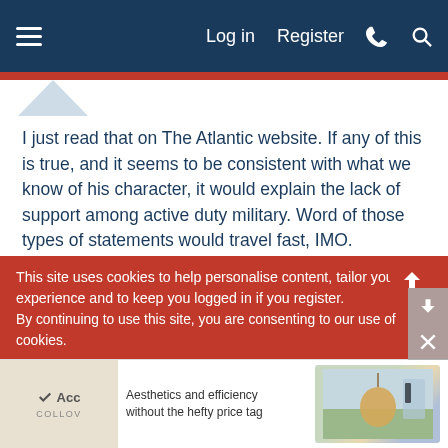Log in  Register
I just read that on The Atlantic website. If any of this is true, and it seems to be consistent with what we know of his character, it would explain the lack of support among active duty military. Word of those types of statements would travel fast, IMO.
Guy who used to write for the Atlantic, vouching for their fact checkers:
[Figure (screenshot): Embedded tweet/Twitter card with Twitter bird logo icon in blue on white rounded rectangle card]
This site uses cookies to help personalise content, tailor your experience and to keep you logged in if you register. By continuing to use this site, you are consenting to our use of cookies.
[Figure (infographic): Advertisement banner: 'Aesthetics and efficiency without the hefty price tag' with COLLOV branding and furniture/interior image]